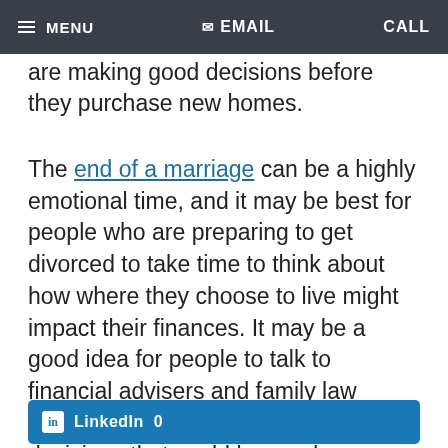MENU  EMAIL  CALL
are making good decisions before they purchase new homes.
The end of a marriage can be a highly emotional time, and it may be best for people who are preparing to get divorced to take time to think about how where they choose to live might impact their finances. It may be a good idea for people to talk to financial advisers and family law attorneys before they make any hasty decisions that could have adverse financial effects.
LinkedIn 0